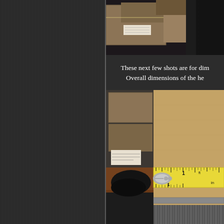[Figure (photo): Top partial photo showing cardboard boxes on shelving in a warehouse/storage area, cropped at top of page]
These next few shots are for dim
Overall dimensions of the he
[Figure (photo): Photo of a metal hardware piece (appears to be a heat sink or similar component) placed on cardboard with a yellow measuring tape/ruler showing measurements around 2 inches. Background shows warehouse shelving with boxes.]